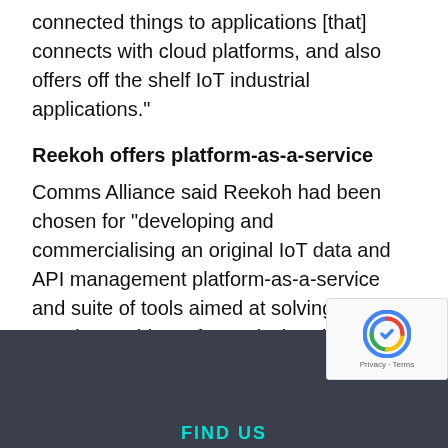connected things to applications [that] connects with cloud platforms, and also offers off the shelf IoT industrial applications."
Reekoh offers platform-as-a-service
Comms Alliance said Reekoh had been chosen for “developing and commercialising an original IoT data and API management platform-as-a-service and suite of tools aimed at solving the growing problem of complexity with integrating IoT solutions and enterprise systems and services."
Read full article.
[Figure (other): Dark footer bar with reCAPTCHA badge in bottom right corner and teal 'FIND US' text at very bottom]